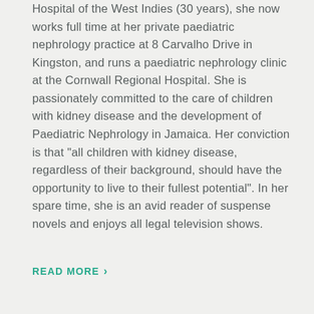Hospital of the West Indies (30 years), she now works full time at her private paediatric nephrology practice at 8 Carvalho Drive in Kingston, and runs a paediatric nephrology clinic at the Cornwall Regional Hospital. She is passionately committed to the care of children with kidney disease and the development of Paediatric Nephrology in Jamaica. Her conviction is that “all children with kidney disease, regardless of their background, should have the opportunity to live to their fullest potential”. In her spare time, she is an avid reader of suspense novels and enjoys all legal television shows.
READ MORE ›